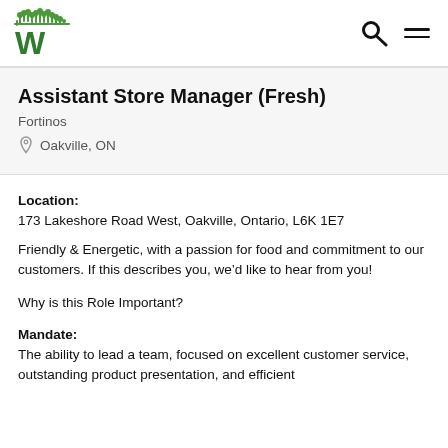[Figure (logo): Walmart/Fortinos W logo with green cityscape above and green W letter]
Assistant Store Manager (Fresh)
Fortinos
Oakville, ON
Location: 173 Lakeshore Road West, Oakville, Ontario, L6K 1E7
Friendly & Energetic, with a passion for food and commitment to our customers. If this describes you, we'd like to hear from you!
Why is this Role Important?
Mandate: The ability to lead a team, focused on excellent customer service, outstanding product presentation, and efficient